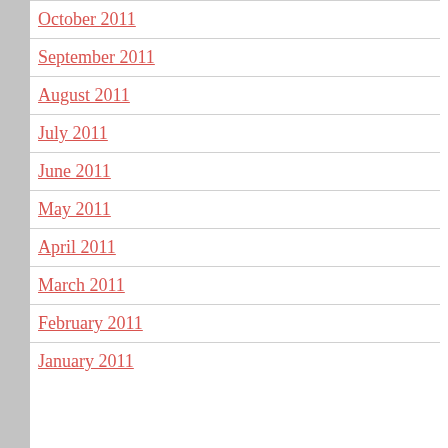October 2011
September 2011
August 2011
July 2011
June 2011
May 2011
April 2011
March 2011
February 2011
January 2011